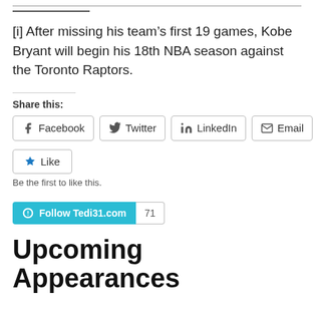[i] After missing his team’s first 19 games, Kobe Bryant will begin his 18th NBA season against the Toronto Raptors.
Share this:
[Figure (infographic): Share buttons row: Facebook, Twitter, LinkedIn, Email]
[Figure (infographic): Like button with star icon]
Be the first to like this.
[Figure (infographic): Follow Tedi31.com button with WordPress icon and follower count 71]
Upcoming Appearances